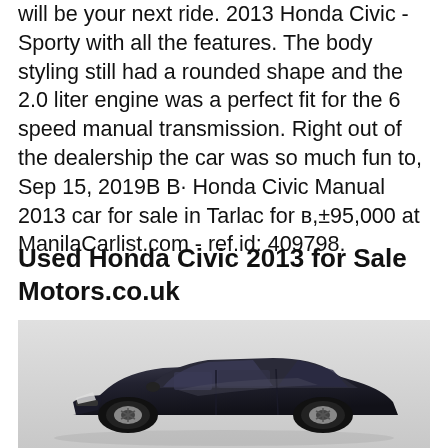will be your next ride. 2013 Honda Civic - Sporty with all the features. The body styling still had a rounded shape and the 2.0 liter engine was a perfect fit for the 6 speed manual transmission. Right out of the dealership the car was so much fun to, Sep 15, 2019В В· Honda Civic Manual 2013 car for sale in Tarlac for в,±95,000 at ManilaCarlist.com - ref.id: 409798.
Used Honda Civic 2013 for Sale Motors.co.uk
[Figure (photo): Dark colored Honda Civic 2013 sedan photographed from front-left angle on a light background]